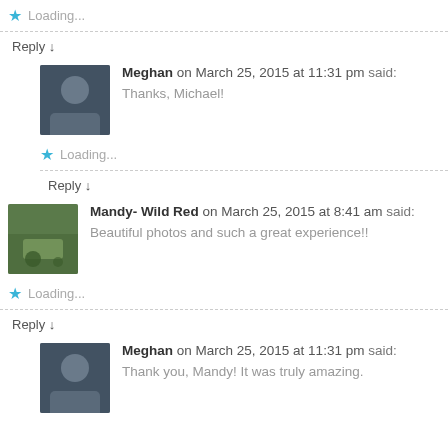★ Loading...
Reply ↓
Meghan on March 25, 2015 at 11:31 pm said:
Thanks, Michael!
★ Loading...
Reply ↓
Mandy- Wild Red on March 25, 2015 at 8:41 am said:
Beautiful photos and such a great experience!!
★ Loading...
Reply ↓
Meghan on March 25, 2015 at 11:31 pm said:
Thank you, Mandy! It was truly amazing.